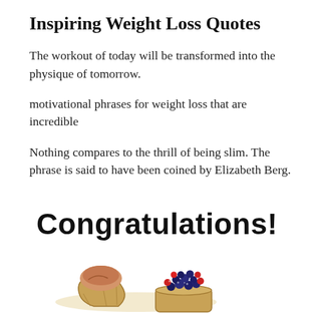Inspiring Weight Loss Quotes
The workout of today will be transformed into the physique of tomorrow.
motivational phrases for weight loss that are incredible
Nothing compares to the thrill of being slim. The phrase is said to have been coined by Elizabeth Berg.
Congratulations!
[Figure (photo): Two baked goods items on parchment paper with berries — a muffin wrapped in brown paper and a small container filled with mixed berries (blueberries and red berries)]